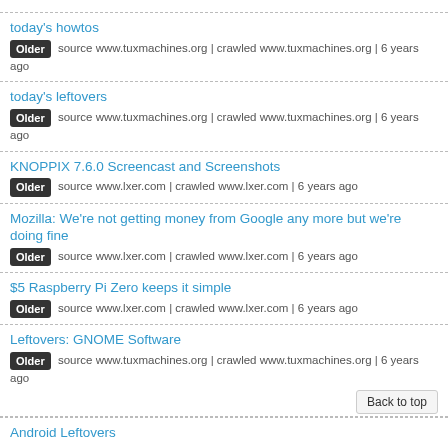today's howtos — Older source www.tuxmachines.org | crawled www.tuxmachines.org | 6 years ago
today's leftovers — Older source www.tuxmachines.org | crawled www.tuxmachines.org | 6 years ago
KNOPPIX 7.6.0 Screencast and Screenshots — Older source www.lxer.com | crawled www.lxer.com | 6 years ago
Mozilla: We're not getting money from Google any more but we're doing fine — Older source www.lxer.com | crawled www.lxer.com | 6 years ago
$5 Raspberry Pi Zero keeps it simple — Older source www.lxer.com | crawled www.lxer.com | 6 years ago
Leftovers: GNOME Software — Older source www.tuxmachines.org | crawled www.tuxmachines.org | 6 years ago
Android Leftovers